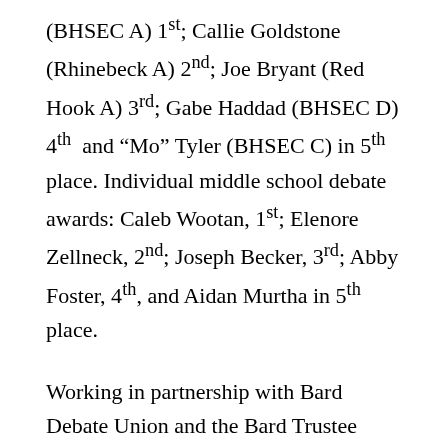(BHSEC A) 1st; Callie Goldstone (Rhinebeck A) 2nd; Joe Bryant (Red Hook A) 3rd; Gabe Haddad (BHSEC D) 4th and "Mo" Tyler (BHSEC C) in 5th place. Individual middle school debate awards: Caleb Wootan, 1st; Elenore Zellneck, 2nd; Joseph Becker, 3rd; Abby Foster, 4th, and Aidan Murtha in 5th place.
Working in partnership with Bard Debate Union and the Bard Trustee Leader Scholar program, the RHEF has helped to start up the LAMS and Red Hook High School debate clubs over the last year. Many thanks to Red Hook faculty Ronald Dombrowski, Tom O'Connor,